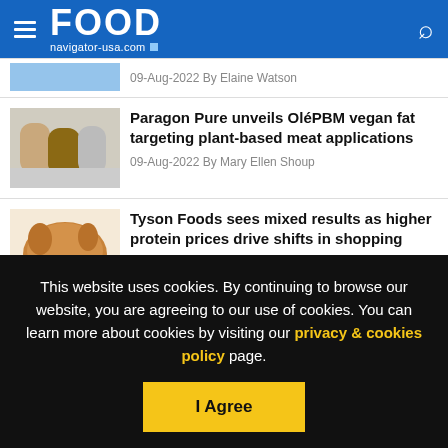FOOD navigator-usa.com
09-Aug-2022 By Elaine Watson
Paragon Pure unveils OléPBM vegan fat targeting plant-based meat applications
09-Aug-2022 By Mary Ellen Shoup
Tyson Foods sees mixed results as higher protein prices drive shifts in shopping
This website uses cookies. By continuing to browse our website, you are agreeing to our use of cookies. You can learn more about cookies by visiting our privacy & cookies policy page.
I Agree